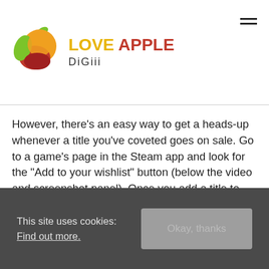LOVE APPLE DiGiii
However, there’s an easy way to get a heads-up whenever a title you’ve coveted goes on sale. Go to a game’s page in the Steam app and look for the “Add to your wishlist” button (below the video and screenshot panel). Once you add a title to your wishlist, you’ll get an email whenever it receives a discount. Plus, during big sales, you can simply visit your wishlist page to view all of the available discounts on titles you’re interested in.
This site uses cookies: Find out more. Okay, thanks